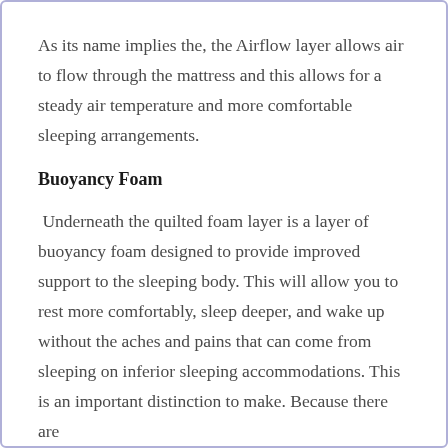As its name implies the, the Airflow layer allows air to flow through the mattress and this allows for a steady air temperature and more comfortable sleeping arrangements.
Buoyancy Foam
Underneath the quilted foam layer is a layer of buoyancy foam designed to provide improved support to the sleeping body. This will allow you to rest more comfortably, sleep deeper, and wake up without the aches and pains that can come from sleeping on inferior sleeping accommodations. This is an important distinction to make. Because there are